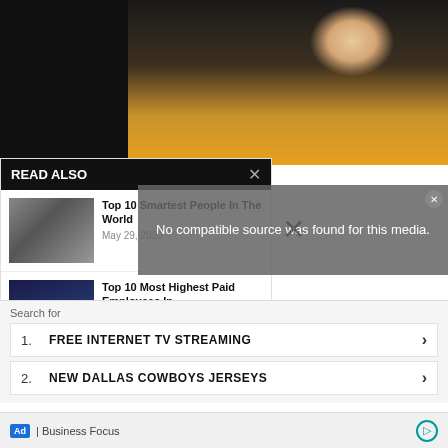[Figure (photo): Photo of a smiling blonde woman in a yellow sleeveless top against a dark background]
READ ALSO
[Figure (photo): Thumbnail of Albert Einstein in black and white]
Top 10 Smartest People In The World
May 29, 2020
[Figure (photo): Thumbnail of Tim Cook with Apple logo]
Top 10 Most Highest Paid Employees In...
January 14, 2022
No compatible source was found for this media.
pursuitist
attractive and equally fulfilled the vacuum.
professional g... sounds has any fun and, well, games. 've been involved in
Search for
1. FREE INTERNET TV STREAMING
2. NEW DALLAS COWBOYS JERSEYS
Ad | Business Focus